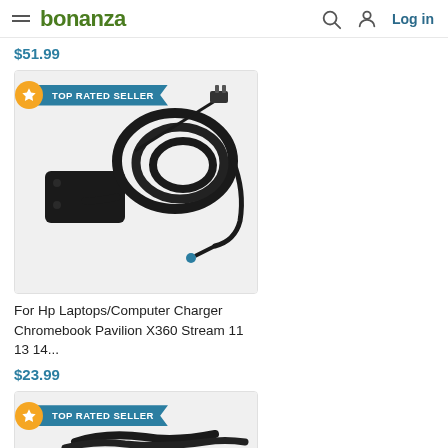bonanza — Log in
$51.99
[Figure (photo): HP laptop charger/power adapter with coiled black cable and blue-tipped connector, product listing photo on Bonanza marketplace. Badge: TOP RATED SELLER.]
For Hp Laptops/Computer Charger Chromebook Pavilion X360 Stream 11 13 14...
$23.99
[Figure (photo): Partial product listing image with TOP RATED SELLER badge, showing bottom of second product (dark cables/charger) cropped at page bottom.]